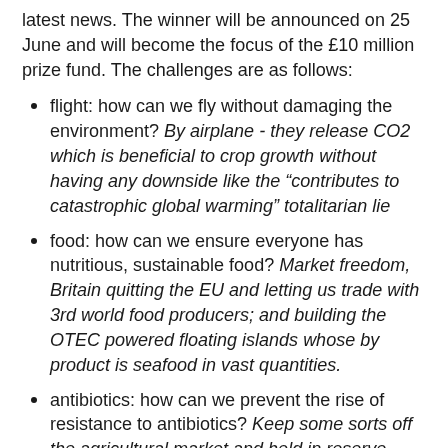latest news. The winner will be announced on 25 June and will become the focus of the £10 million prize fund. The challenges are as follows:
flight: how can we fly without damaging the environment? By airplane - they release CO2 which is beneficial to crop growth without having any downside like the "contributes to catastrophic global warming" totalitarian lie
food: how can we ensure everyone has nutritious, sustainable food? Market freedom, Britain quitting the EU and letting us trade with 3rd world food producers; and building the OTEC powered floating islands whose by product is seafood in vast quantities.
antibiotics: how can we prevent the rise of resistance to antibiotics? Keep some sorts off the agricultural market and held in reserve.
paralysis: how can we restore movement to those with paralysis? Powered exo-skeltons like those used for the ceremonial first kick in the Brazilian